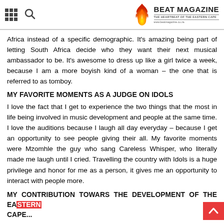BEAT MAGAZINE — THE HEARTBEAT OF THE EASTERN CAPE — www.beatmagazine.co.za
Africa instead of a specific demographic. It's amazing being part of letting South Africa decide who they want their next musical ambassador to be. It's awesome to dress up like a girl twice a week, because I am a more boyish kind of a woman – the one that is referred to as tomboy.
MY FAVORITE MOMENTS AS A JUDGE ON IDOLS
I love the fact that I get to experience the two things that the most in life being involved in music development and people at the same time. I love the auditions because I laugh all day everyday – because I get an opportunity to see people giving their all. My favorite moments were Mzomhle the guy who sang Careless Whisper, who literally made me laugh until I cried. Travelling the country with Idols is a huge privilege and honor for me as a person, it gives me an opportunity to interact with people more.
MY CONTRIBUTION TOWARS THE DEVELOPMENT OF THE EASTERN CAPE...